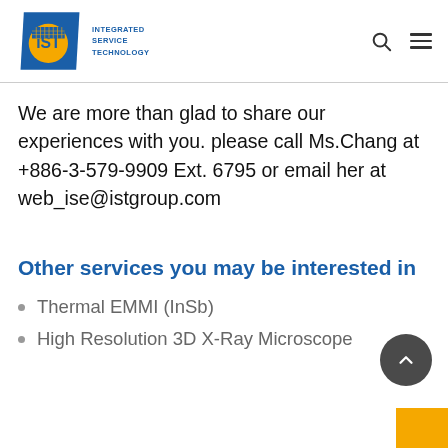IST Integrated Service Technology
We are more than glad to share our experiences with you. please call Ms.Chang at +886-3-579-9909 Ext. 6795 or email her at web_ise@istgroup.com
Other services you may be interested in
Thermal EMMI (InSb)
High Resolution 3D X-Ray Microscope